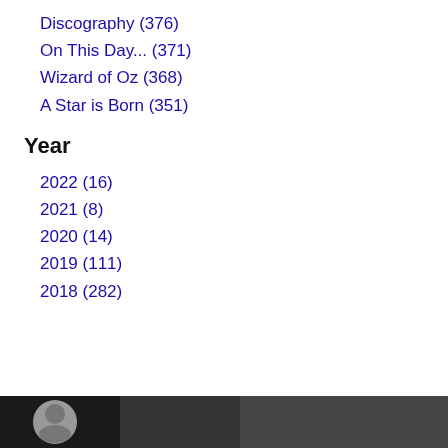Discography (376)
On This Day... (371)
Wizard of Oz (368)
A Star is Born (351)
Year
2022 (16)
2021 (8)
2020 (14)
2019 (111)
2018 (282)
[Figure (photo): Dark horizontal banner image at bottom of page, showing a partially visible circular icon/face on the left side against a dark background.]